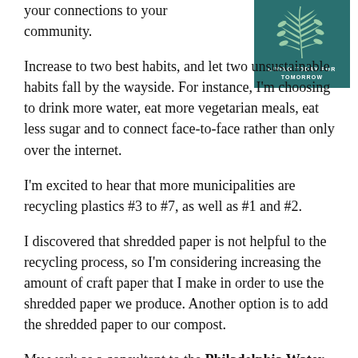your connections to your community.
[Figure (logo): Teal square logo with a fern leaf illustration and the text 'Living Today for Tomorrow' at the bottom]
Increase to two best habits, and let two unsustainable habits fall by the wayside. For instance, I'm choosing to drink more water, eat more vegetarian meals, eat less sugar and to connect face-to-face rather than only over the internet.
I'm excited to hear that more municipalities are recycling plastics #3 to #7, as well as #1 and #2.
I discovered that shredded paper is not helpful to the recycling process, so I'm considering increasing the amount of craft paper that I make in order to use the shredded paper we produce. Another option is to add the shredded paper to our compost.
My work as a consultant to the Philadelphia Water Department is extremely exciting and rewarding. The